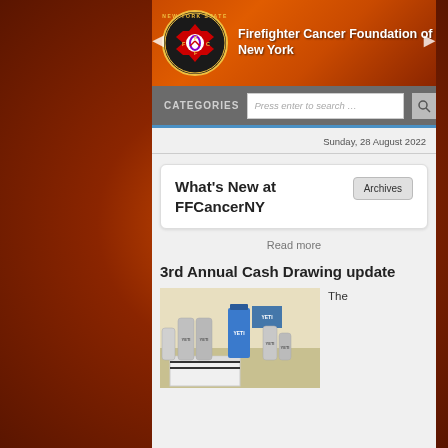[Figure (screenshot): Website screenshot of Firefighter Cancer Foundation of New York with header banner, navigation, date, widget box, and article listing]
Firefighter Cancer Foundation of New York
CATEGORIES  Press enter to search …
Sunday, 28 August 2022
What's New at FFCancerNY
Archives
Read more
3rd Annual Cash Drawing update
The